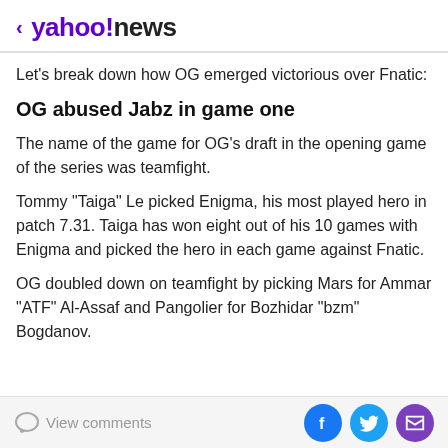< yahoo!news
Let's break down how OG emerged victorious over Fnatic:
OG abused Jabz in game one
The name of the game for OG's draft in the opening game of the series was teamfight.
Tommy "Taiga" Le picked Enigma, his most played hero in patch 7.31. Taiga has won eight out of his 10 games with Enigma and picked the hero in each game against Fnatic.
OG doubled down on teamfight by picking Mars for Ammar "ATF" Al-Assaf and Pangolier for Bozhidar "bzm" Bogdanov.
View comments